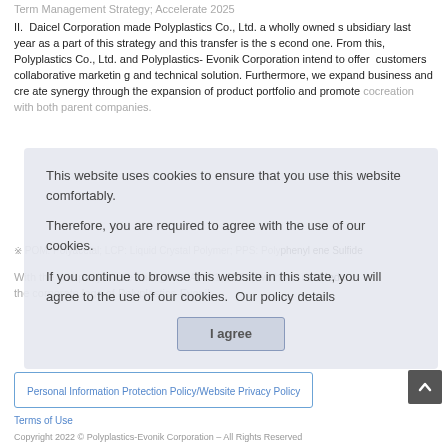Term Management Strategy; Accelerate 2025
II.  Daicel Corporation made Polyplastics Co., Ltd. a wholly owned subsidiary last year as a part of this strategy and this transfer is the second one. From this, Polyplastics Co., Ltd. and Polyplastics-Evonik Corporation intend to offer  customers collaborative marketing and technical solution. Furthermore, we expand business and create synergy through the expansion of product portfolio and promote cocreation with both parent companies.
This website uses cookies to ensure that you use this website comfortably.
Therefore, you are required to agree with the use of our cookies.
If you continue to browse this website in this state, you will agree to the use of our cookies.  Our policy details
I agree
※ POM: Polyacetal; LCP: Liquid Crystal Polymer; PPS: Polyphenylene Sulfide
With the company name change on April 1, 2022, we have decided the corporate logo of Polyplastics-Evonik.
Personal Information Protection Policy/Website Privacy Policy
Terms of Use
Copyright 2022 © Polyplastics-Evonik Corporation – All Rights Reserved